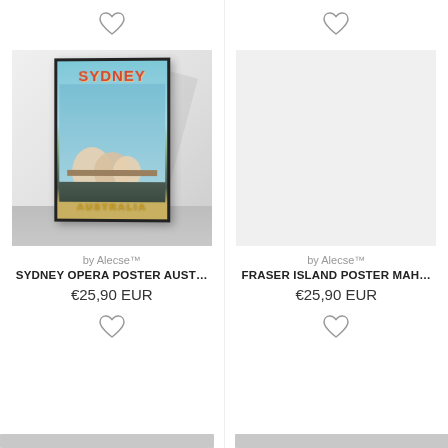[Figure (photo): Heart/wishlist icon for left product (top)]
[Figure (photo): Heart/wishlist icon for right product (top)]
[Figure (photo): Sydney Opera House vintage travel poster art print in black frame, leaning against white wall on white wooden floor. Poster reads SYDNEY at top in red letters and AUSTRALIA at bottom in gold letters.]
by Alecse™
SYDNEY OPERA POSTER AUST…
€25,90 EUR
by Alecse™
FRASER ISLAND POSTER MAH…
€25,90 EUR
[Figure (photo): Heart/wishlist icon for left product (bottom)]
[Figure (photo): Heart/wishlist icon for right product (bottom)]